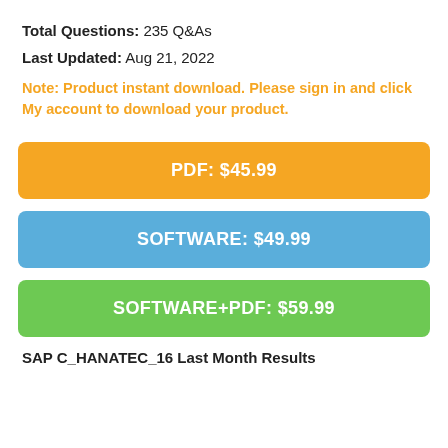Total Questions: 235 Q&As
Last Updated: Aug 21, 2022
Note: Product instant download. Please sign in and click My account to download your product.
PDF: $45.99
SOFTWARE: $49.99
SOFTWARE+PDF: $59.99
SAP C_HANATEC_16 Last Month Results